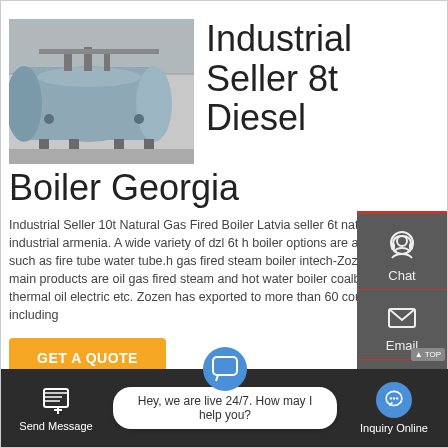[Figure (photo): Photo of large industrial boiler tanks in a factory or warehouse setting. Two large horizontal cylindrical blue-grey boilers on metal stands with pipes and fittings.]
Industrial Seller 8t Diesel Boiler Georgia
Industrial Seller 10t Natural Gas Fired Boiler Latvia seller 6t natural gas boiler industrial armenia. A wide variety of dzl 6t h boiler options are available to you such as fire tube water tube.h gas fired steam boiler intech-Zozen boilerThe main products are oil gas fired steam and hot water boiler coalbiomass grate thermal oil electric etc. Zozen has exported to more than 60 countries including
GET A QUOTE
[Figure (infographic): Side panel with dark grey background showing three contact options: Chat (headset icon), Email (envelope icon), and Contact (speech bubble icon). Has a TOP button.]
Send Message
Hey, we are live 24/7. How may I help you?
Inquiry Online